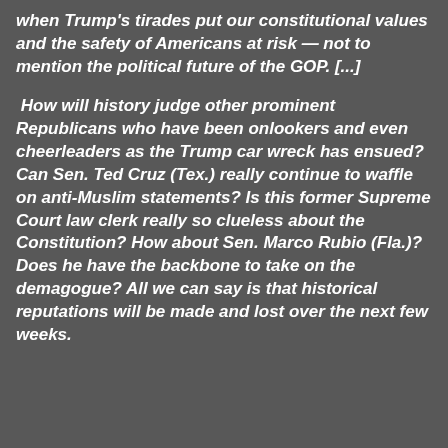when Trump's tirades put our constitutional values and the safety of Americans at risk — not to mention the political future of the GOP. [...]
How will history judge other prominent Republicans who have been onlookers and even cheerleaders as the Trump car wreck has ensued? Can Sen. Ted Cruz (Tex.) really continue to waffle on anti-Muslim statements? Is this former Supreme Court law clerk really so clueless about the Constitution? How about Sen. Marco Rubio (Fla.)? Does he have the backbone to take on the demagogue? All we can say is that historical reputations will be made and lost over the next few weeks.